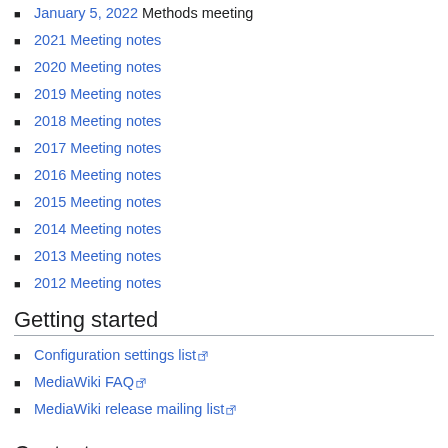January 5, 2022 Methods meeting
2021 Meeting notes
2020 Meeting notes
2019 Meeting notes
2018 Meeting notes
2017 Meeting notes
2016 Meeting notes
2015 Meeting notes
2014 Meeting notes
2013 Meeting notes
2012 Meeting notes
Getting started
Configuration settings list
MediaWiki FAQ
MediaWiki release mailing list
Contact
If you need assistance and/or if you have questions about the project, feel free to send e-mail to guergana dot savova at childrens dot harvard dot